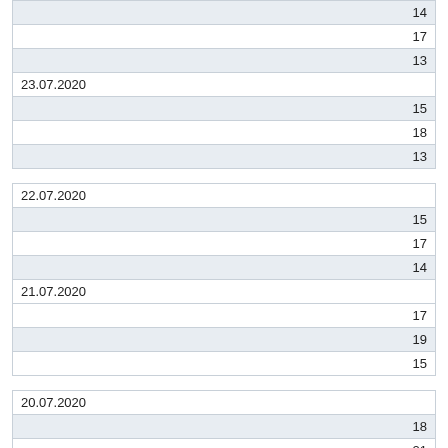| 14 |
| 17 |
| 13 |
| 23.07.2020 |
| 15 |
| 18 |
| 13 |
| 22.07.2020 |
| 15 |
| 17 |
| 14 |
| 21.07.2020 |
| 17 |
| 19 |
| 15 |
| 20.07.2020 |
| 18 |
| 21 |